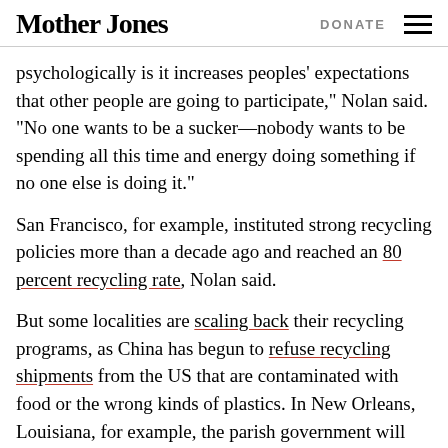Mother Jones | DONATE
psychologically is it increases peoples' expectations that other people are going to participate," Nolan said. "No one wants to be a sucker—nobody wants to be spending all this time and energy doing something if no one else is doing it."
San Francisco, for example, instituted strong recycling policies more than a decade ago and reached an 80 percent recycling rate, Nolan said.
But some localities are scaling back their recycling programs, as China has begun to refuse recycling shipments from the US that are contaminated with food or the wrong kinds of plastics. In New Orleans, Louisiana, for example, the parish government will